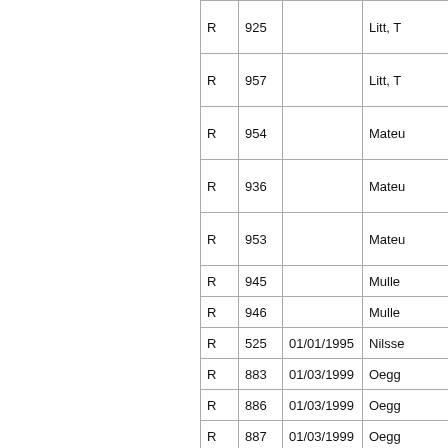|  |  |  |  |
| --- | --- | --- | --- |
| R | 925 |  | Litt, T |
| R | 957 |  | Litt, T |
| R | 954 |  | Mateu |
| R | 936 |  | Mateu |
| R | 953 |  | Mateu |
| R | 945 |  | Mulle |
| R | 946 |  | Mulle |
| R | 525 | 01/01/1995 | Nilsse |
| R | 883 | 01/03/1999 | Oegg |
| R | 886 | 01/03/1999 | Oegg |
| R | 887 | 01/03/1999 | Oegg |
| R | 885 | 01/03/1999 | Oegg |
| R | 884 | 01/03/1999 | Oegg |
| R | 247 | 01/01/1993 | Pegla |
| R | 930 |  | Queir |
| R | 929 |  | Queir |
| R | 931 |  | Queir |